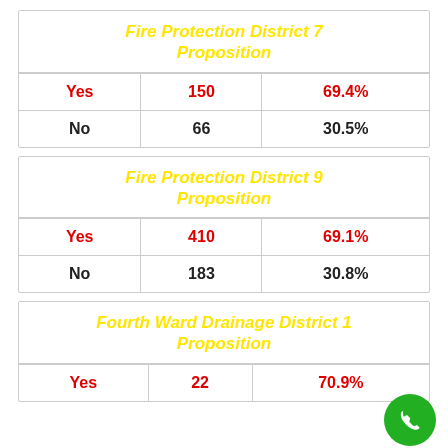|  |  |  |
| --- | --- | --- |
| Fire Protection District 7 Proposition |  |  |
| Yes | 150 | 69.4% |
| No | 66 | 30.5% |
|  |  |  |
| --- | --- | --- |
| Fire Protection District 9 Proposition |  |  |
| Yes | 410 | 69.1% |
| No | 183 | 30.8% |
|  |  |  |
| --- | --- | --- |
| Fourth Ward Drainage District 1 Proposition |  |  |
| Yes | 22 | 70.9% |